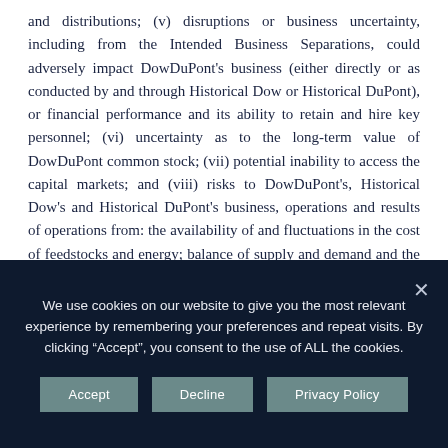and distributions; (v) disruptions or business uncertainty, including from the Intended Business Separations, could adversely impact DowDuPont's business (either directly or as conducted by and through Historical Dow or Historical DuPont), or financial performance and its ability to retain and hire key personnel; (vi) uncertainty as to the long-term value of DowDuPont common stock; (vii) potential inability to access the capital markets; and (viii) risks to DowDuPont's, Historical Dow's and Historical DuPont's business, operations and results of operations from: the availability of and fluctuations in the cost of feedstocks and energy; balance of supply and demand and the impact of balance on prices; failure to develop and market new products
We use cookies on our website to give you the most relevant experience by remembering your preferences and repeat visits. By clicking "Accept", you consent to the use of ALL the cookies.